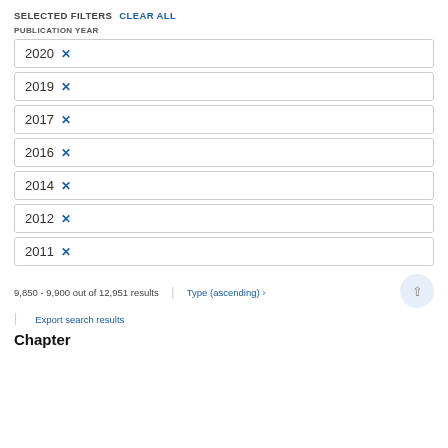SELECTED FILTERS  CLEAR ALL
PUBLICATION YEAR
2020 ×
2019 ×
2017 ×
2016 ×
2014 ×
2012 ×
2011 ×
9,850 - 9,900 out of 12,951 results
Type (ascending) ›
Export search results
Chapter